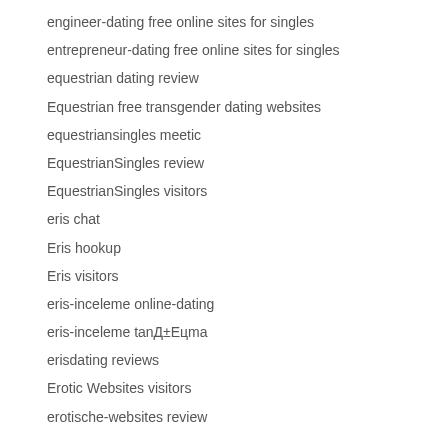engineer-dating free online sites for singles
entrepreneur-dating free online sites for singles
equestrian dating review
Equestrian free transgender dating websites
equestriansingles meetic
EquestrianSingles review
EquestrianSingles visitors
eris chat
Eris hookup
Eris visitors
eris-inceleme online-dating
eris-inceleme tanД±Eцma
erisdating reviews
Erotic Websites visitors
erotische-websites review